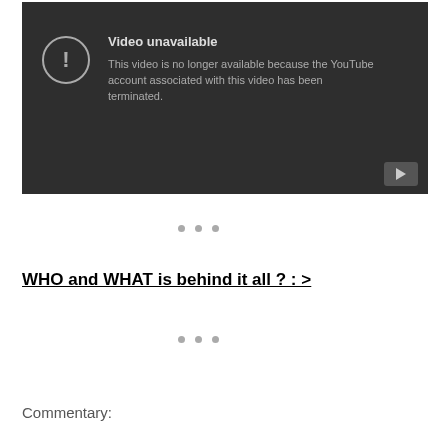[Figure (screenshot): YouTube video unavailable error screen with dark background. Shows an exclamation mark circle icon, title 'Video unavailable', and message 'This video is no longer available because the YouTube account associated with this video has been terminated.' A YouTube play button icon appears in the bottom right corner.]
• • •
WHO and WHAT is behind it all ? : >
• • •
Commentary: